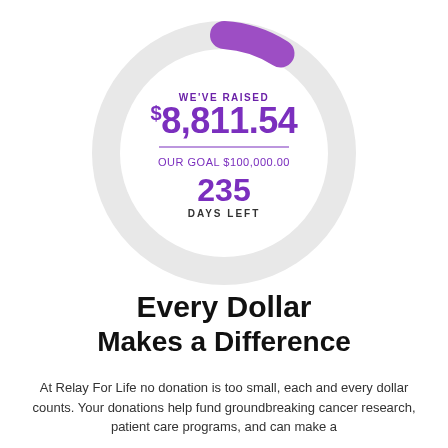[Figure (donut-chart): Partial donut/ring chart showing fundraising progress. Large light gray ring mostly unfilled, indicating about 8.8% progress toward a $100,000 goal. Center displays 'WE'VE RAISED $8,811.54', a divider line, 'OUR GOAL $100,000.00', and '235 DAYS LEFT'.]
Every Dollar Makes a Difference
At Relay For Life no donation is too small, each and every dollar counts. Your donations help fund groundbreaking cancer research, patient care programs, and can make a